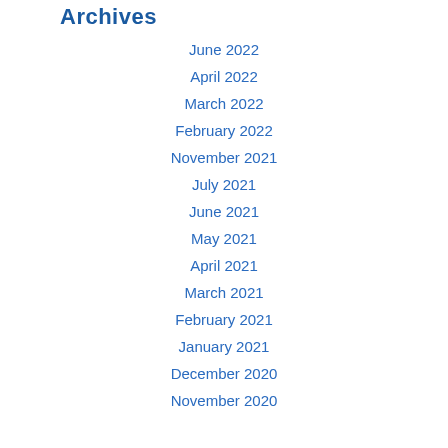Archives
June 2022
April 2022
March 2022
February 2022
November 2021
July 2021
June 2021
May 2021
April 2021
March 2021
February 2021
January 2021
December 2020
November 2020